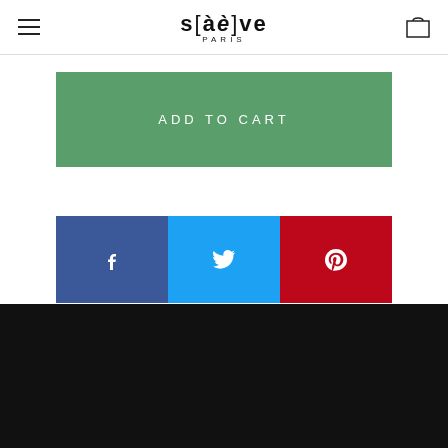s[àè]ve PARIS — navigation header with hamburger menu and cart icon
[Figure (other): Green 'ADD TO CART' button]
[Figure (other): Social share buttons: Facebook (blue), Twitter (light blue), Pinterest (red)]
Black footer area